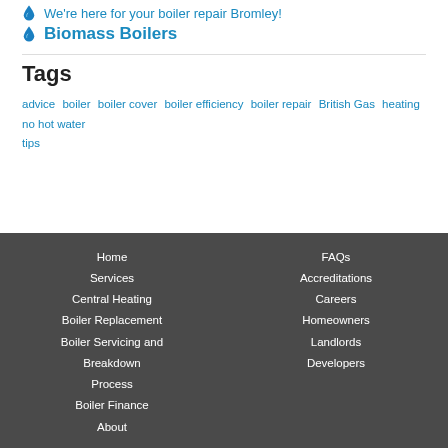Biomass Boilers
Tags
advice  boiler  boiler cover  boiler efficiency  boiler repair  British Gas  heating  no hot water  tips
Home  Services  Central Heating  Boiler Replacement  Boiler Servicing and Breakdown  Process  Boiler Finance  About  FAQs  Accreditations  Careers  Homeowners  Landlords  Developers